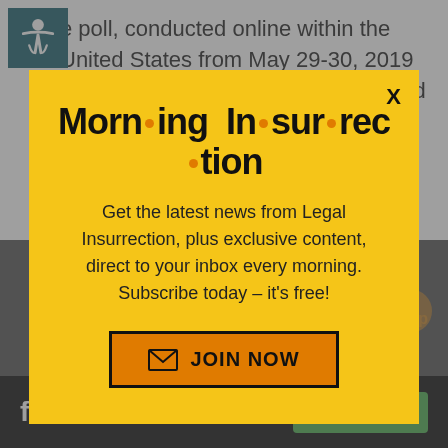e poll, conducted online within the United States from May 29-30, 2019 among 1,295 registered voters, found that just 40% of American voters find the Democratic options
[Figure (screenshot): Morning Insurrection newsletter signup modal popup with yellow background, bold title 'Morn·ing In·sur·rec·tion', descriptive text, and orange JOIN NOW button]
[Figure (screenshot): Fiverr advertisement banner at bottom with logo and Start Now button]
Back to Top